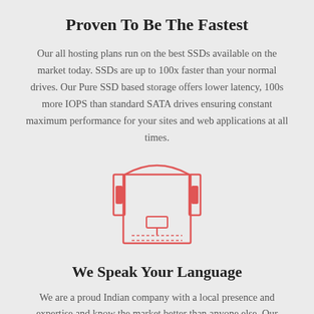Proven To Be The Fastest
Our all hosting plans run on the best SSDs available on the market today. SSDs are up to 100x faster than your normal drives. Our Pure SSD based storage offers lower latency, 100s more IOPS than standard SATA drives ensuring constant maximum performance for your sites and web applications at all times.
[Figure (illustration): Headset/support icon in red outline style, showing headphones over a document with text lines]
We Speak Your Language
We are a proud Indian company with a local presence and expertise and know the market better than anyone else. Our support team is fully in-house and are fluent in English and Hindi. We bill in INR and